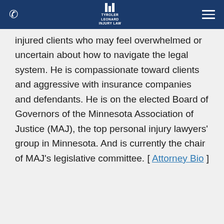Tyroler Leonard Injury Law — navigation header
injured clients who may feel overwhelmed or uncertain about how to navigate the legal system. He is compassionate toward clients and aggressive with insurance companies and defendants. He is on the elected Board of Governors of the Minnesota Association of Justice (MAJ), the top personal injury lawyers' group in Minnesota. And is currently the chair of MAJ's legislative committee. [ Attorney Bio ]